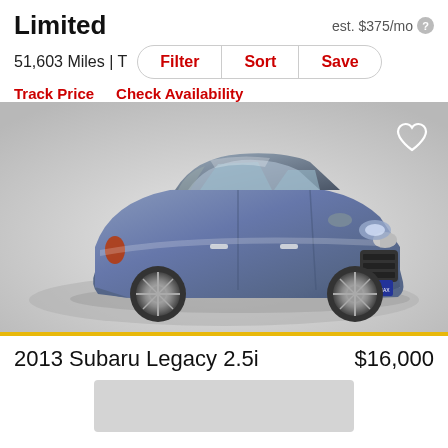Limited
est. $375/mo
51,603 Miles | T
Filter  Sort  Save
Track Price   Check Availability
[Figure (photo): Blue/grey Subaru Legacy sedan on a white turntable, 3/4 front view, with a heart/favorite icon in the upper right corner]
2013 Subaru Legacy 2.5i
$16,000